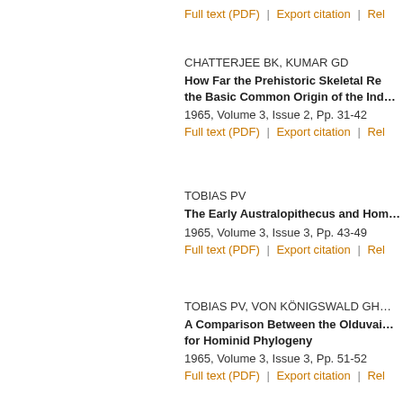Full text (PDF)  |  Export citation  |  Rel…
CHATTERJEE BK, KUMAR GD
How Far the Prehistoric Skeletal Re… the Basic Common Origin of the Ind…
1965, Volume 3, Issue 2, Pp. 31-42
Full text (PDF)  |  Export citation  |  Rel…
TOBIAS PV
The Early Australopithecus and Hom…
1965, Volume 3, Issue 3, Pp. 43-49
Full text (PDF)  |  Export citation  |  Rel…
TOBIAS PV, VON KÖNIGSWALD GH…
A Comparison Between the Olduvai… for Hominid Phylogeny
1965, Volume 3, Issue 3, Pp. 51-52
Full text (PDF)  |  Export citation  |  Rel…